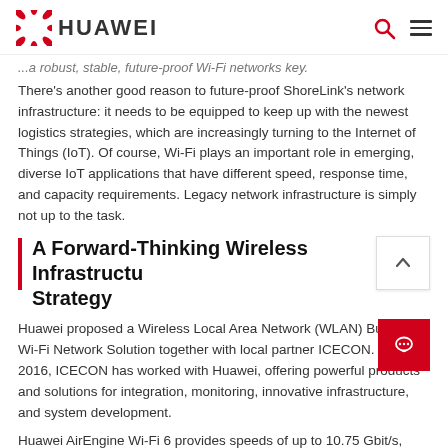HUAWEI
...a robust, stable, future-proof Wi-Fi networks key.
There's another good reason to future-proof ShoreLink's network infrastructure: it needs to be equipped to keep up with the newest logistics strategies, which are increasingly turning to the Internet of Things (IoT). Of course, Wi-Fi plays an important role in emerging, diverse IoT applications that have different speed, response time, and capacity requirements. Legacy network infrastructure is simply not up to the task.
A Forward-Thinking Wireless Infrastructure Strategy
Huawei proposed a Wireless Local Area Network (WLAN) Business Wi-Fi Network Solution together with local partner ICECON. Since 2016, ICECON has worked with Huawei, offering powerful products and solutions for integration, monitoring, innovative infrastructure, and system development.
Huawei AirEngine Wi-Fi 6 provides speeds of up to 10.75 Gbit/s,